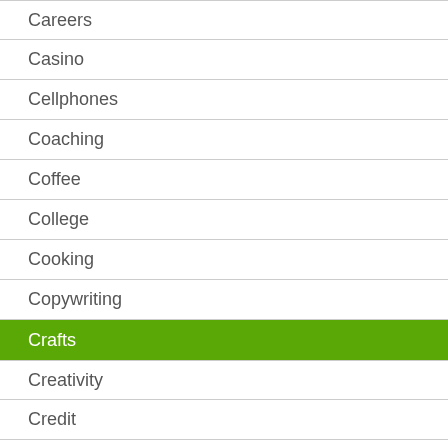Careers
Casino
Cellphones
Coaching
Coffee
College
Cooking
Copywriting
Crafts
Creativity
Credit
Cruising